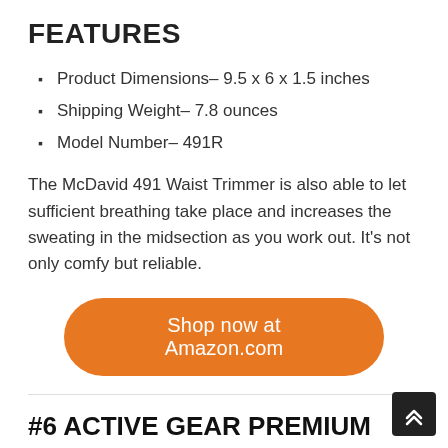FEATURES
Product Dimensions– 9.5 x 6 x 1.5 inches
Shipping Weight– 7.8 ounces
Model Number– 491R
The McDavid 491 Waist Trimmer is also able to let sufficient breathing take place and increases the sweating in the midsection as you work out. It's not only comfy but reliable.
Shop now at Amazon.com
#6 ACTIVE GEAR PREMIUM WAISTTRIMMER BELT SLIMBODY